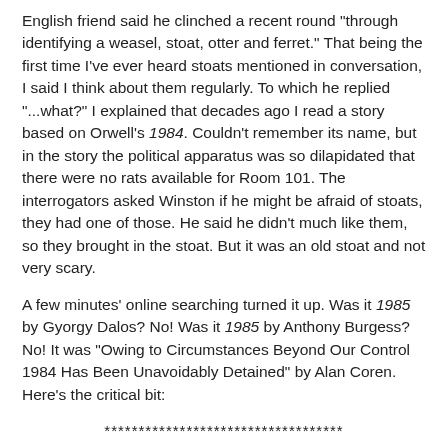English friend said he clinched a recent round "through identifying a weasel, stoat, otter and ferret." That being the first time I've ever heard stoats mentioned in conversation, I said I think about them regularly. To which he replied "...what?" I explained that decades ago I read a story based on Orwell's 1984. Couldn't remember its name, but in the story the political apparatus was so dilapidated that there were no rats available for Room 101. The interrogators asked Winston if he might be afraid of stoats, they had one of those. He said he didn't much like them, so they brought in the stoat. But it was an old stoat and not very scary.
A few minutes' online searching turned it up. Was it 1985 by Gyorgy Dalos? No! Was it 1985 by Anthony Burgess? No! It was "Owing to Circumstances Beyond Our Control 1984 Has Been Unavoidably Detained" by Alan Coren. Here's the critical bit:
***********************************
"Ah, Smith, Winston," cried the white-coated man at the door of Room 101. "Won't you come in? Rats, I believe, are